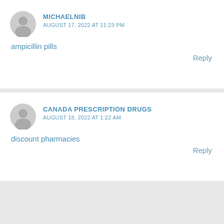MICHAELNIB
AUGUST 17, 2022 AT 11:23 PM
ampicillin pills
Reply
CANADA PRESCRIPTION DRUGS
AUGUST 18, 2022 AT 1:22 AM
discount pharmacies
Reply